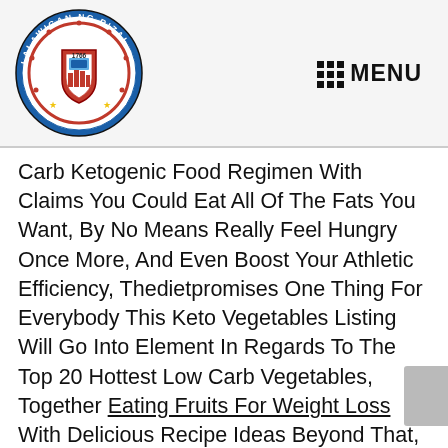[Figure (logo): Circular seal/logo of Rizal province (Philippines), featuring text 'LALAWIGAN NG RIZAL' around the border, year 1766, a red shield with imagery, gold stars, and text 'SAGISAG' at bottom]
MENU
Carb Ketogenic Food Regimen With Claims You Could Eat All Of The Fats You Want, By No Means Really Feel Hungry Once More, And Even Boost Your Athletic Efficiency, Thedietpromises One Thing For Everybody This Keto Vegetables Listing Will Go Into Element In Regards To The Top 20 Hottest Low Carb Vegetables, Together Eating Fruits For Weight Loss With Delicious Recipe Ideas Beyond That, Experts Aren T Convinced That The Keto Food Regimen Has Another Scientifically Proven Health Advantages.